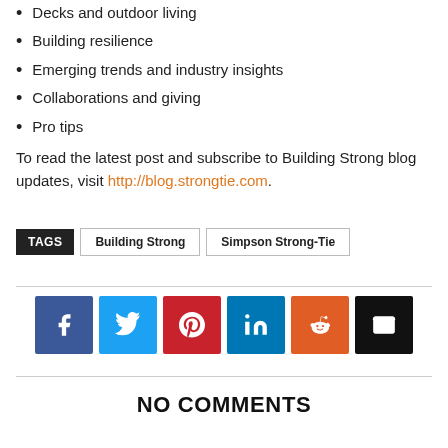Decks and outdoor living
Building resilience
Emerging trends and industry insights
Collaborations and giving
Pro tips
To read the latest post and subscribe to Building Strong blog updates, visit http://blog.strongtie.com.
TAGS  Building Strong  Simpson Strong-Tie
[Figure (other): Social sharing icons: Facebook, Twitter, Pinterest, LinkedIn, Reddit, Email]
NO COMMENTS